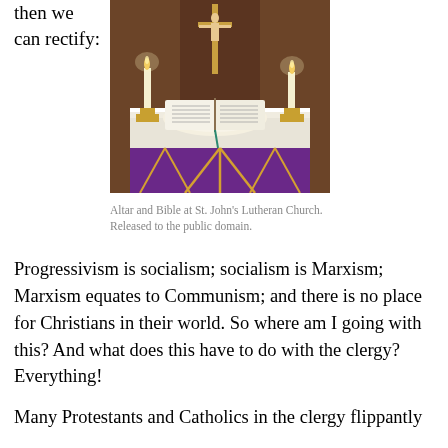then we can rectify:
[Figure (photo): Altar and Bible at St. John's Lutheran Church with candles and crucifix, purple altar cloth with gold decorations.]
Altar and Bible at St. John's Lutheran Church. Released to the public domain.
Progressivism is socialism; socialism is Marxism; Marxism equates to Communism; and there is no place for Christians in their world. So where am I going with this? And what does this have to do with the clergy? Everything!
Many Protestants and Catholics in the clergy flippantly